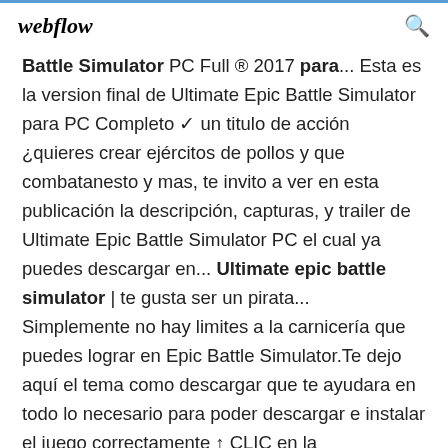webflow
Battle Simulator PC Full ® 2017 para... Esta es la version final de Ultimate Epic Battle Simulator para PC Completo ✓ un titulo de acción ¿quieres crear ejércitos de pollos y que combatanesto y mas, te invito a ver en esta publicación la descripción, capturas, y trailer de Ultimate Epic Battle Simulator PC el cual ya puedes descargar en... Ultimate epic battle simulator | te gusta ser un pirata...
Simplemente no hay limites a la carnicería que puedes lograr en Epic Battle Simulator.Te dejo aquí el tema como descargar que te ayudara en todo lo necesario para poder descargar e instalar el juego correctamente ↑ CLIC en la